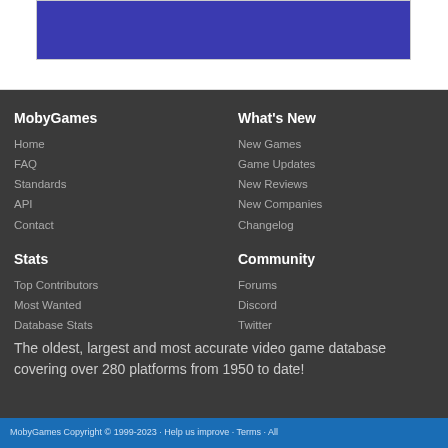[Figure (screenshot): Partial advertisement banner with purple/blue background and Shop Now button with food imagery on right side]
MobyGames
Home
FAQ
Standards
API
Contact
Stats
Top Contributors
Most Wanted
Database Stats
What's New
New Games
Game Updates
New Reviews
New Companies
Changelog
Community
Forums
Discord
Twitter
The oldest, largest and most accurate video game database covering over 280 platforms from 1950 to date!
MobyGames Copyright © 1999-2023 · Help us improve · Terms · All